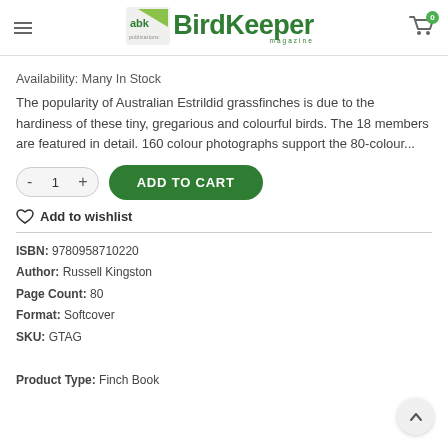abk BirdKeeper magazine — navigation header with cart icon showing 0
Availability: Many In Stock
The popularity of Australian Estrildid grassfinches is due to the hardiness of these tiny, gregarious and colourful birds. The 18 members are featured in detail. 160 colour photographs support the 80-colour...
ADD TO CART (quantity selector with - 1 +)
Add to wishlist
ISBN: 9780958710220
Author: Russell Kingston
Page Count: 80
Format: Softcover
SKU: GTAG
Product Type: Finch Book